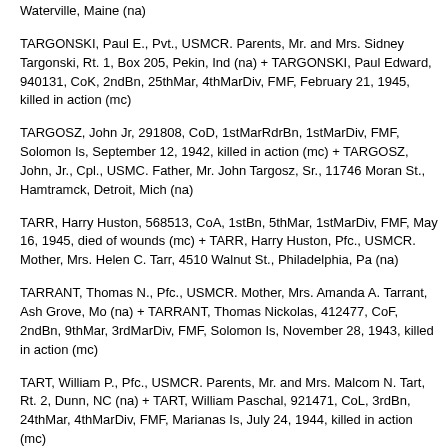Waterville, Maine (na)
TARGONSKI, Paul E., Pvt., USMCR. Parents, Mr. and Mrs. Sidney Targonski, Rt. 1, Box 205, Pekin, Ind (na) + TARGONSKI, Paul Edward, 940131, CoK, 2ndBn, 25thMar, 4thMarDiv, FMF, February 21, 1945, killed in action (mc)
TARGOSZ, John Jr, 291808, CoD, 1stMarRdrBn, 1stMarDiv, FMF, Solomon Is, September 12, 1942, killed in action (mc) + TARGOSZ, John, Jr., Cpl., USMC. Father, Mr. John Targosz, Sr., 11746 Moran St., Hamtramck, Detroit, Mich (na)
TARR, Harry Huston, 568513, CoA, 1stBn, 5thMar, 1stMarDiv, FMF, May 16, 1945, died of wounds (mc) + TARR, Harry Huston, Pfc., USMCR. Mother, Mrs. Helen C. Tarr, 4510 Walnut St., Philadelphia, Pa (na)
TARRANT, Thomas N., Pfc., USMCR. Mother, Mrs. Amanda A. Tarrant, Ash Grove, Mo (na) + TARRANT, Thomas Nickolas, 412477, CoF, 2ndBn, 9thMar, 3rdMarDiv, FMF, Solomon Is, November 28, 1943, killed in action (mc)
TART, William P., Pfc., USMCR. Parents, Mr. and Mrs. Malcom N. Tart, Rt. 2, Dunn, NC (na) + TART, William Paschal, 921471, CoL, 3rdBn, 24thMar, 4thMarDiv, FMF, Marianas Is, July 24, 1944, killed in action (mc)